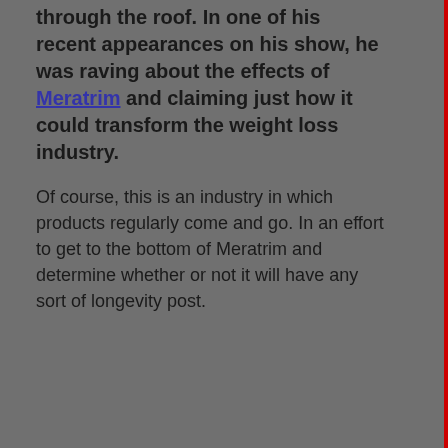through the roof. In one of his recent appearances on his show, he was raving about the effects of Meratrim and claiming just how it could transform the weight loss industry.
Of course, this is an industry in which products regularly come and go. In an effort to get to the bottom of Meratrim and determine whether or not it will have any sort of longevity post.
How does Meratrim work?
If you've studied a lot of weight loss products, you'll be aware